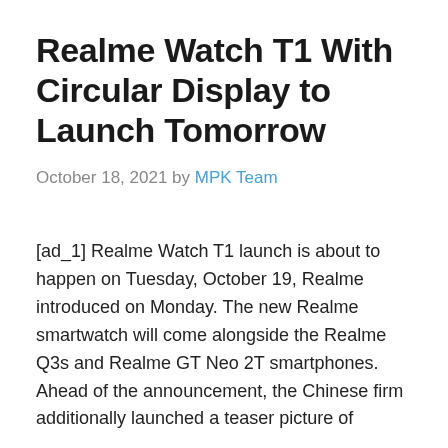Realme Watch T1 With Circular Display to Launch Tomorrow
October 18, 2021 by MPK Team
[ad_1] Realme Watch T1 launch is about to happen on Tuesday, October 19, Realme introduced on Monday. The new Realme smartwatch will come alongside the Realme Q3s and Realme GT Neo 2T smartphones. Ahead of the announcement, the Chinese firm additionally launched a teaser picture of